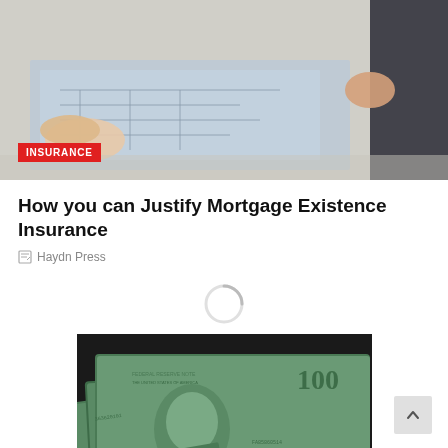[Figure (photo): Two people at a desk with blueprints and a model house, appearing to discuss a mortgage or insurance deal. One person's hands visible on left, another in suit jacket on right.]
How you can Justify Mortgage Existence Insurance
Haydn Press
[Figure (photo): Loading spinner (circular spinner animation indicator)]
[Figure (photo): Close-up photograph of several $100 US dollar bills fanned out on a dark background.]